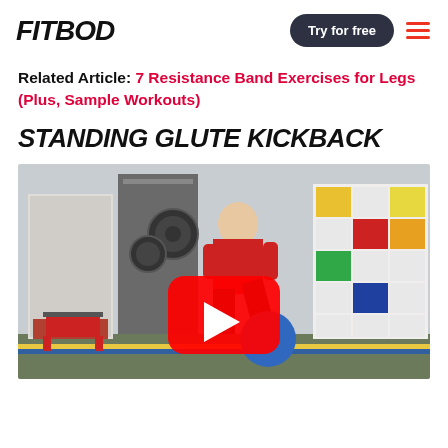FITBOD
Related Article: 7 Resistance Band Exercises for Legs (Plus, Sample Workouts)
STANDING GLUTE KICKBACK
[Figure (photo): A man in a red shirt performing a standing glute kickback exercise in a gym. The gym has a colorful storage shelving unit in the background. A YouTube play button overlay is centered on the image.]